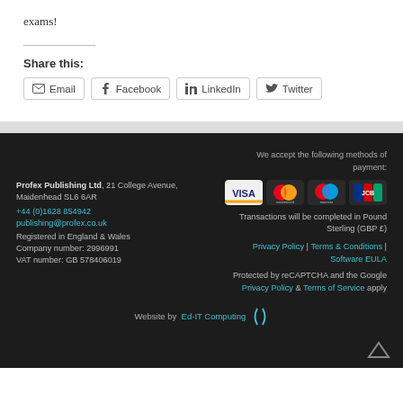exams!
Share this:
Email | Facebook | LinkedIn | Twitter
Profex Publishing Ltd, 21 College Avenue, Maidenhead SL6 6AR
+44 (0)1628 854942
publishing@profex.co.uk
Registered in England & Wales
Company number: 2996991
VAT number: GB 578406019

We accept the following methods of payment:
[Visa, Mastercard, Maestro, JCB payment icons]
Transactions will be completed in Pound Sterling (GBP £)
Privacy Policy | Terms & Conditions | Software EULA
Protected by reCAPTCHA and the Google Privacy Policy & Terms of Service apply

Website by Ed-IT Computing